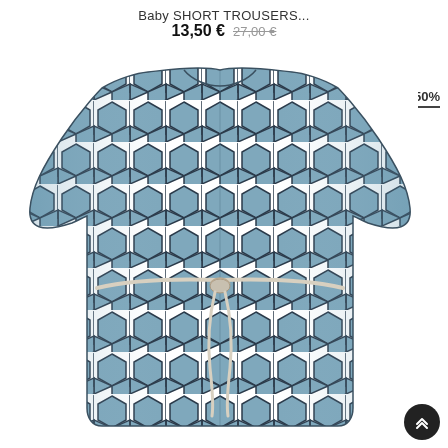Baby SHORT TROUSERS...
13,50 € 27,00 €
-50%
[Figure (photo): A baby romper/dress with a hexagonal geometric print in blue-grey fabric with dark navy outlines, tied at the waist with a white rope belt, displayed on a white background.]